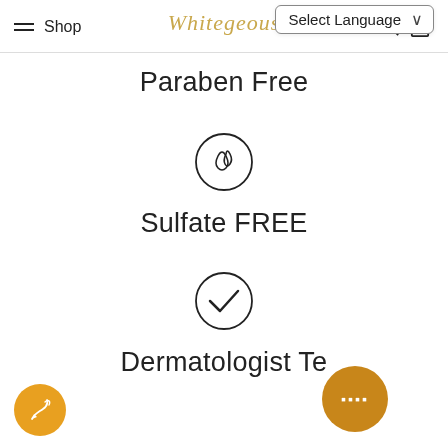Shop | Whitegeous | Select Language
Paraben Free
[Figure (illustration): Circle icon with two water drop shapes inside, representing sulfate free]
Sulfate FREE
[Figure (illustration): Circle icon with a checkmark inside, representing dermatologist tested]
Dermatologist Te